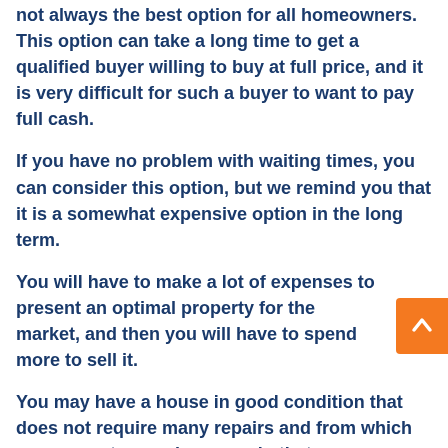not always the best option for all homeowners. This option can take a long time to get a qualified buyer willing to buy at full price, and it is very difficult for such a buyer to want to pay full cash.
If you have no problem with waiting times, you can consider this option, but we remind you that it is a somewhat expensive option in the long term.
You will have to make a lot of expenses to present an optimal property for the market, and then you will have to spend more to sell it.
You may have a house in good condition that does not require many repairs and from which you can get enough money, in that case we recommend you evaluate the expenses compared to the waiting time so that you are sure not to lose too